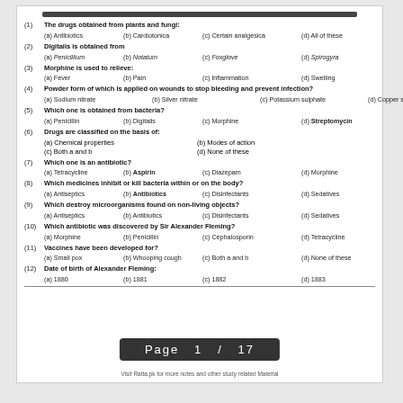(1) The drugs obtained from plants and fungi:
(a) Antibiotics (b) Cardiotonica (c) Certain analgesica (d) All of these
(2) Digitalis is obtained from
(a) Penicillium (b) Notatum (c) Foxglove (d) Spirogyra
(3) Morphine is used to relieve:
(a) Fever (b) Pain (c) Inflammation (d) Swelling
(4) Powder form of which is applied on wounds to stop bleeding and prevent infection?
(a) Sodium nitrate (b) Silver nitrate (c) Potassium sulphate (d) Copper sulphate
(5) Which one is obtained from bacteria?
(a) Penicillin (b) Digitalis (c) Morphine (d) Streptomycin
(6) Drugs are classified on the basis of:
(a) Chemical properties (b) Modes of action (c) Both a and b (d) None of these
(7) Which one is an antibiotic?
(a) Tetracycline (b) Aspirin (c) Diazepam (d) Morphine
(8) Which medicines inhibit or kill bacteria within or on the body?
(a) Antiseptics (b) Antibiotics (c) Disinfectants (d) Sedatives
(9) Which destroy microorganisms found on non-living objects?
(a) Antiseptics (b) Antibiotics (c) Disinfectants (d) Sedatives
(10) Which antibiotic was discovered by Sir Alexander Fleming?
(a) Morphine (b) Penicillin (c) Cephalosporin (d) Tetracycline
(11) Vaccines have been developed for?
(a) Small pox (b) Whooping cough (c) Both a and b (d) None of these
(12) Date of birth of Alexander Fleming:
(a) 1880 (b) 1881 (c) 1882 (d) 1883
Page 1 / 17
Visit Ratta.pk for more notes and other study related Material